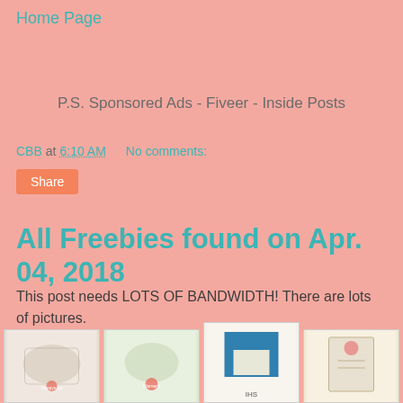Home Page
P.S. Sponsored Ads - Fiveer - Inside Posts
CBB at 6:10 AM   No comments:
Share
All Freebies found on Apr. 04, 2018
This post needs LOTS OF BANDWIDTH! There are lots of pictures.
[Figure (photo): Four thumbnail images of freebies/coloring pages at the bottom of the post]
[Figure (photo): Second thumbnail image]
[Figure (photo): Third thumbnail image with blue background]
[Figure (photo): Fourth thumbnail image on cream background]